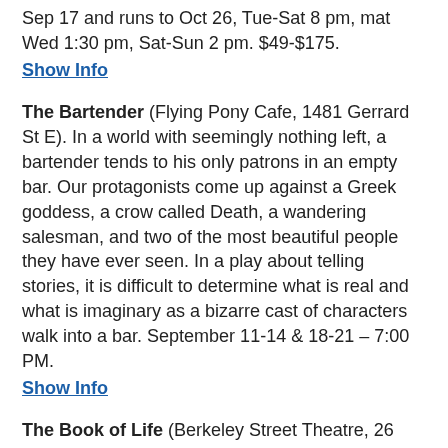Sep 17 and runs to Oct 26, Tue-Sat 8 pm, mat Wed 1:30 pm, Sat-Sun 2 pm. $49-$175.
Show Info
The Bartender (Flying Pony Cafe, 1481 Gerrard St E). In a world with seemingly nothing left, a bartender tends to his only patrons in an empty bar. Our protagonists come up against a Greek goddess, a crow called Death, a wandering salesman, and two of the most beautiful people they have ever seen. In a play about telling stories, it is difficult to determine what is real and what is imaginary as a bizarre cast of characters walk into a bar. September 11-14 & 18-21 – 7:00 PM.
Show Info
The Book of Life (Berkeley Street Theatre, 26 Berkeley St). Canadian Stage, Volcano Theatre and Why Not Theatre present a play by Odile Gakire Katese. Rwandan artist/humanitarian Using letters written by survivors of the